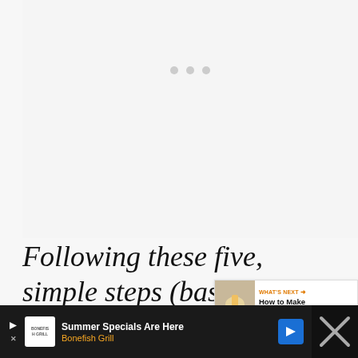[Figure (screenshot): Loading placeholder area with three grey dots indicating content loading]
[Figure (infographic): Orange heart/favorite button and dark share button with count '1' overlaid on right edge]
Following these five, simple steps (based on my book The Re... Woman) will help you do just that.
[Figure (screenshot): WHAT'S NEXT panel showing thumbnail and title 'How to Make Your Dream...']
[Figure (screenshot): Advertisement bar: Summer Specials Are Here - Bonefish Grill]